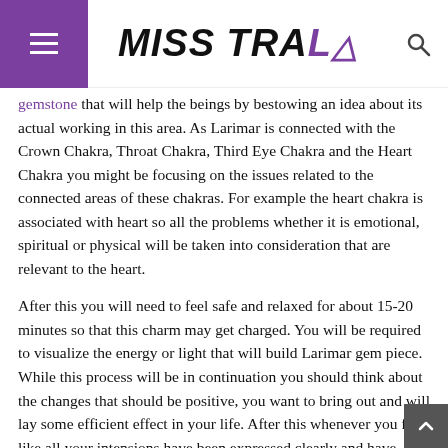MISS TRAL
gemstone that will help the beings by bestowing an idea about its actual working in this area. As Larimar is connected with the Crown Chakra, Throat Chakra, Third Eye Chakra and the Heart Chakra you might be focusing on the issues related to the connected areas of these chakras. For example the heart chakra is associated with heart so all the problems whether it is emotional, spiritual or physical will be taken into consideration that are relevant to the heart.
After this you will need to feel safe and relaxed for about 15-20 minutes so that this charm may get charged. You will be required to visualize the energy or light that will build Larimar gem piece. While this process will be in continuation you should think about the changes that should be positive, you want to bring out and will lay some efficient effect in your life. After this whenever you feel like all your intensions have been expressed clearly and have soaked within the gemstone then carry it along with you. When you feel that it needs to be recharged or clean then only separate it from your body.